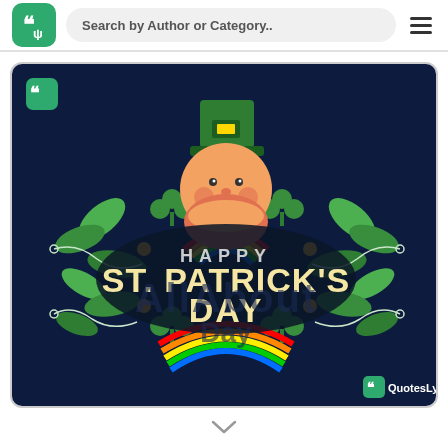Search by Author or Category..
[Figure (illustration): Happy St. Patrick's Day greeting card with leprechaun, shamrocks, rainbow, and green decorative leaves on dark navy background. QuotesLyfe logo in bottom right.]